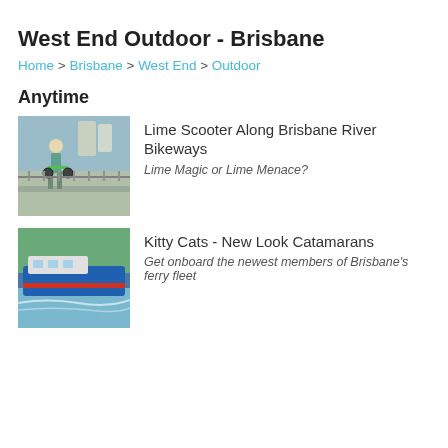West End Outdoor - Brisbane
Home > Brisbane > West End > Outdoor
Anytime
[Figure (photo): Person riding a lime scooter along Brisbane River bikeway with city skyline in background]
Lime Scooter Along Brisbane River Bikeways
Lime Magic or Lime Menace?
[Figure (photo): Blue and red catamaran ferry on Brisbane River with green trees in background]
Kitty Cats - New Look Catamarans
Get onboard the newest members of Brisbane's ferry fleet